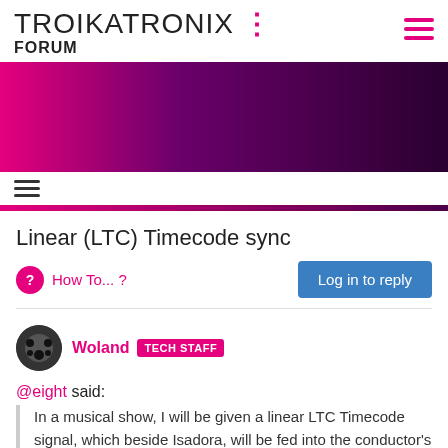TROIKATRONIX : FORUM
[Figure (illustration): Pink to dark purple gradient banner image]
Linear (LTC) Timecode sync
How To... ?
Log in to reply
Woland TECH STAFF
@eight said:
In a musical show, I will be given a linear LTC Timecode signal, which beside Isadora, will be fed into the conductor's ear as well as the lighting board. What's the current state of using LTC